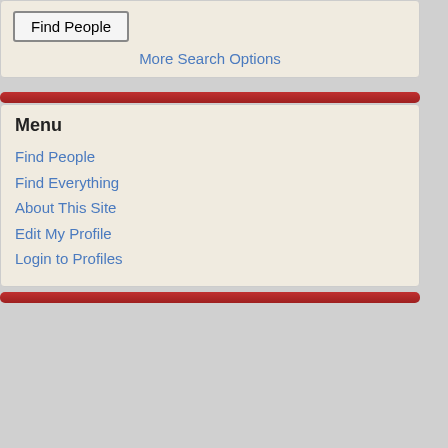Find People
More Search Options
Menu
Find People
Find Everything
About This Site
Edit My Profile
Login to Profiles
| Name | University |
| --- | --- |
| Minglei Zhao | Un |
| Antonio Bianco | Un |
| Marcus Ramsay Clark | Un |
| Jueqi Chen | Un |
| Anning Lin | Un |
| Shelly Wright | Un |
| Bakhtiar Yamini | Un |
| Yuxuan Miao | Un |
| Ralf Kittler |  |
| Benjamin S. Ko | Un |
| Yusuke Nakamura | Un |
| Alexander J. Ruthenburg | Un |
| Malay Mandal | Un |
| Roger Sciammas | Un |
Per Page  15    Page